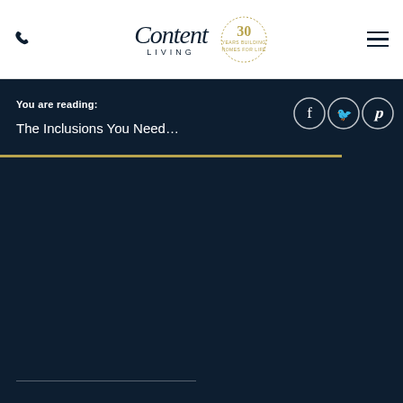Content Living — 30 Years Building Homes For Life
You are reading:
The Inclusions You Need…
[Figure (logo): Three social media icons in circle outlines: Facebook (f), Twitter (bird), Pinterest (P)]